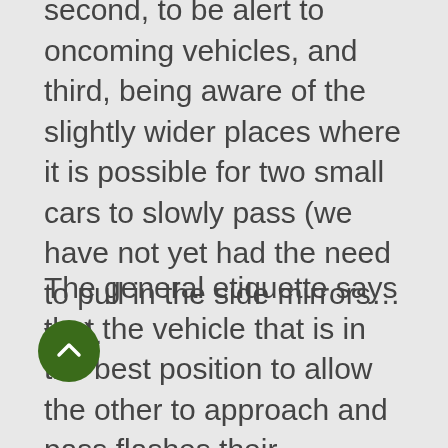second, to be alert to oncoming vehicles, and third, being aware of the slightly wider places where it is possible for two small cars to slowly pass (we have not yet had the need to pull in the side mirrors… yet).
The general etiquette says that the vehicle that is in the best position to allow the other to approach and pass flashes their headlights, and then moves over or [r]ses to the wide area that he had just passed. The transaction is always concluded with a smile, and a friendly